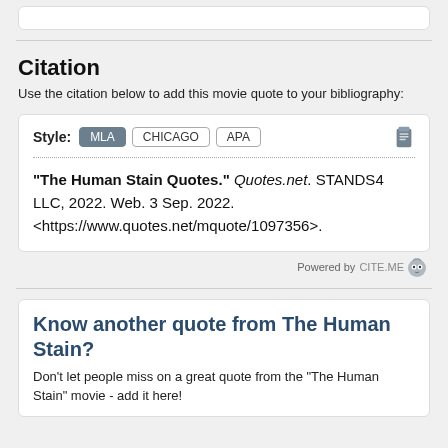Citation
Use the citation below to add this movie quote to your bibliography:
Style: MLA CHICAGO APA
"The Human Stain Quotes." Quotes.net. STANDS4 LLC, 2022. Web. 3 Sep. 2022. <https://www.quotes.net/mquote/1097356>.
Powered by CITE.ME
Know another quote from The Human Stain?
Don't let people miss on a great quote from the "The Human Stain" movie - add it here!